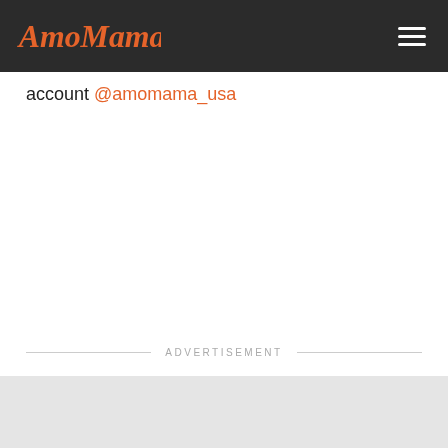AmoMama [logo] [hamburger menu]
account @amomama_usa
ADVERTISEMENT